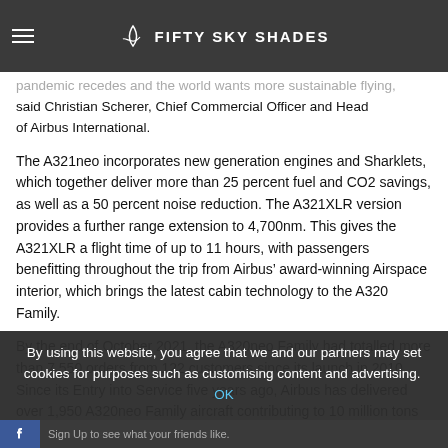FIFTY SKY SHADES
pandemic recedes and the world wants more sustainable flying, said Christian Scherer, Chief Commercial Officer and Head of Airbus International.
The A321neo incorporates new generation engines and Sharklets, which together deliver more than 25 percent fuel and CO2 savings, as well as a 50 percent noise reduction. The A321XLR version provides a further range extension to 4,700nm. This gives the A321XLR a flight time of up to 11 hours, with passengers benefitting throughout the trip from Airbus’ award-winning Airspace interior, which brings the latest cabin technology to the A320 Family.
By the end of October 2021, the A320neo Family had totalled more than 7,550 orders from 122 customers since its launch in 2010. Since its Entry into Service five years ago, Airbus has delivered over 1,950 A320neo Family aircraft contributing to 10 million tons of CO2 saving.
Indigo Partners LLC, based in Phoenix, Arizona, is a private equity fund focused on worldwide investments in air transportation.
By using this website, you agree that we and our partners may set cookies for purposes such as customising content and advertising. OK
Sign Up to see what your friends like.